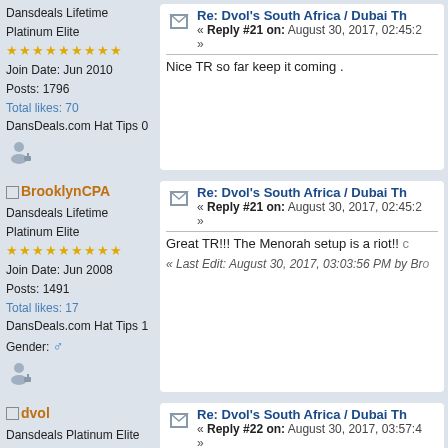Dansdeals Lifetime Platinum Elite
★★★★★★★★★
Join Date: Jun 2010
Posts: 1796
Total likes: 70
DansDeals.com Hat Tips 0
Re: Dvol's South Africa / Dubai T... « Reply #21 on: August 30, 2017, 02:45:... »
Nice TR so far keep it coming .
BrooklynCPA
Dansdeals Lifetime Platinum Elite
★★★★★★★★★
Join Date: Jun 2008
Posts: 1491
Total likes: 17
DansDeals.com Hat Tips 1
Gender: ♂
Re: Dvol's South Africa / Dubai T... « Reply #21 on: August 30, 2017, 02:45:... »
Great TR!!! The Menorah setup is a riot!! ...
« Last Edit: August 30, 2017, 03:03:56 PM by Br...
dvol
Dansdeals Platinum Elite
★★★★
Join Date: Jun 2009
Posts: 319
Total likes: 8
DansDeals.com Hat Tips 5
Re: Dvol's South Africa / Dubai T... « Reply #22 on: August 30, 2017, 03:57:4... »
Part 3 (It's a long one)
Etali Lodge in Madikwe